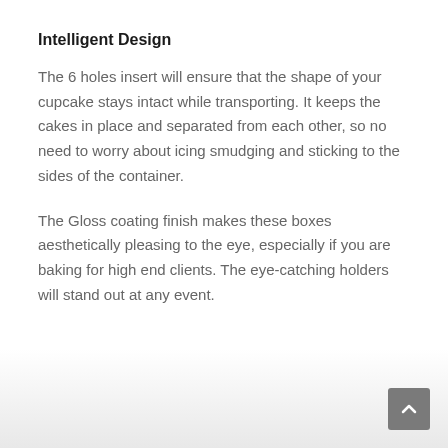Intelligent Design
The 6 holes insert will ensure that the shape of your cupcake stays intact while transporting. It keeps the cakes in place and separated from each other, so no need to worry about icing smudging and sticking to the sides of the container.
The Gloss coating finish makes these boxes aesthetically pleasing to the eye, especially if you are baking for high end clients. The eye-catching holders will stand out at any event.